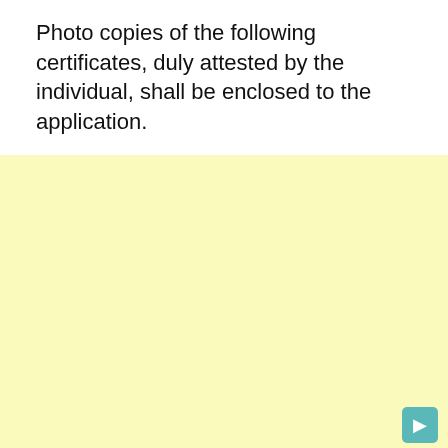Photo copies of the following certificates, duly attested by the individual, shall be enclosed to the application.
[Figure (other): Large light yellow blank area occupying the lower portion of the page, with a small teal/green icon in the bottom-right corner.]